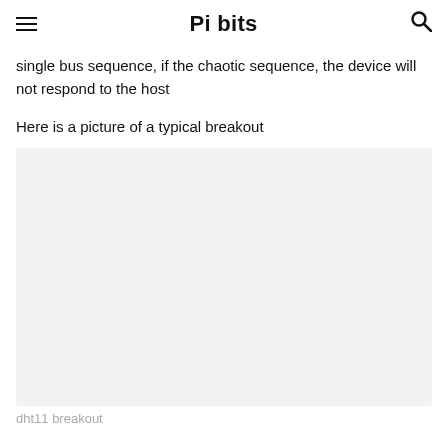Pi bits
single bus sequence, if the chaotic sequence, the device will not respond to the host
Here is a picture of a typical breakout
[Figure (photo): A light grey placeholder rectangle representing a photo of a dht11 breakout board]
dht11 breakout